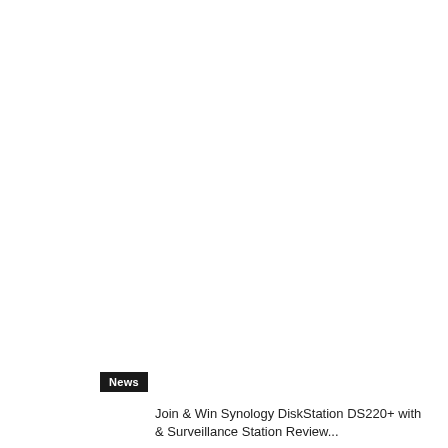News
Meet Kingston FURY Renegade DDR5 Family with Extreme Overclocking Potential!
Jayce Ooi  -  August 17, 2022   0
Kingston FURY, the gaming division of Kingston Technology, a world leader in memory products and technology solutions, announced today the release of Kingston FURY...
Join & Win Synology DiskStation DS220+ with & Surveillance Station Review...